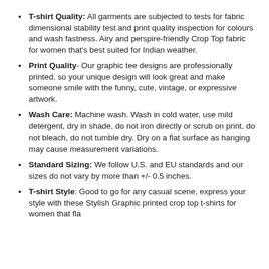T-shirt Quality: All garments are subjected to tests for fabric dimensional stability test and print quality inspection for colours and wash fastness. Airy and perspire-friendly Crop Top fabric for women that's best suited for Indian weather.
Print Quality- Our graphic tee designs are professionally printed, so your unique design will look great and make someone smile with the funny, cute, vintage, or expressive artwork.
Wash Care: Machine wash. Wash in cold water, use mild detergent, dry in shade, do not iron directly or scrub on print, do not bleach, do not tumble dry. Dry on a flat surface as hanging may cause measurement variations.
Standard Sizing: We follow U.S. and EU standards and our sizes do not vary by more than +/- 0.5 inches.
T-shirt Style: Good to go for any casual scene, express your style with these Stylish Graphic printed crop top t-shirts for women that fla...